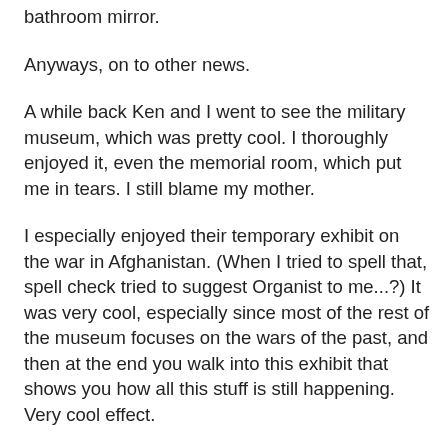bathroom mirror.
Anyways, on to other news.
A while back Ken and I went to see the military museum, which was pretty cool. I thoroughly enjoyed it, even the memorial room, which put me in tears. I still blame my mother.
I especially enjoyed their temporary exhibit on the war in Afghanistan. (When I tried to spell that, spell check tried to suggest Organist to me...?) It was very cool, especially since most of the rest of the museum focuses on the wars of the past, and then at the end you walk into this exhibit that shows you how all this stuff is still happening. Very cool effect.
I have to say I am enjoying my summer. I've got a new job, which I really enjoy. It gives me enough hours to have steady summer income, but enough free days during the week so I feel I still have time to go out and enjoy the warm season. I still hope to enjoy some more summer adventures. Mainly